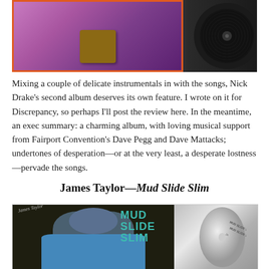[Figure (photo): Top portion of an album cover showing purple/pink artwork with shoes, alongside a vinyl record]
Mixing a couple of delicate instrumentals in with the songs, Nick Drake's second album deserves its own feature. I wrote on it for Discrepancy, so perhaps I'll post the review here. In the meantime, an exec summary: a charming album, with loving musical support from Fairport Convention's Dave Pegg and Dave Mattacks; undertones of desperation—or at the very least, a desperate lostness—pervade the songs.
James Taylor—Mud Slide Slim
[Figure (photo): James Taylor Mud Slide Slim album cover showing James Taylor and a CD]